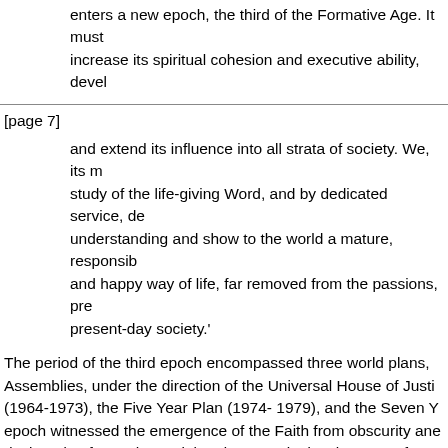enters a new epoch, the third of the Formative Age. It must increase its spiritual cohesion and executive ability, devel
[page 7]
and extend its influence into all strata of society. We, its m study of the life-giving Word, and by dedicated service, de understanding and show to the world a mature, responsib and happy way of life, far removed from the passions, pre present-day society.'
The period of the third epoch encompassed three world plans, Assemblies, under the direction of the Universal House of Justi (1964-1973), the Five Year Plan (1974- 1979), and the Seven Y epoch witnessed the emergence of the Faith from obscurity ane designed to foster the social and economic development of com Continental Boards of Counsellors was brought into existence b the International Teaching Centre. Assistants to the Auxiliary Bo World Centre of the Faith, the historic construction and occupat House of Justice was a crowning event.